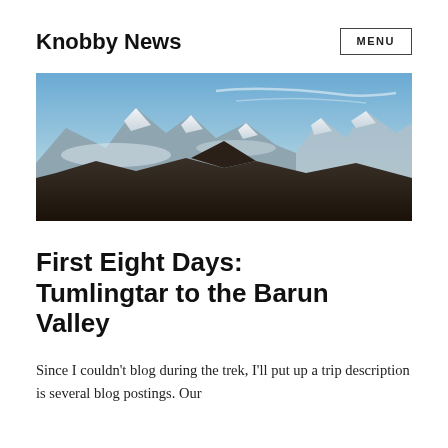Knobby News
[Figure (photo): Panoramic photograph of snow-capped Himalayan mountain peaks with blue sky and lower dark forested hills in the foreground]
First Eight Days: Tumlingtar to the Barun Valley
Since I couldn't blog during the trek, I'll put up a trip description is several blog postings. Our